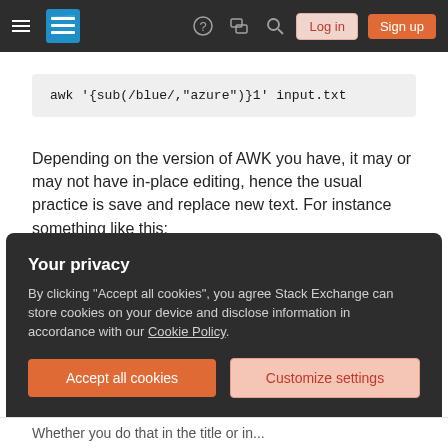Stack Exchange navigation bar with hamburger menu, logo, help, chat, search, Log in, Sign up buttons
awk '{sub(/blue/,"azure")}1' input.txt
Depending on the version of AWK you have, it may or may not have in-place editing, hence the usual practice is save and replace new text. For instance something like this:
awk '{sub(/blue/,"azure")}1' input.txt > te
SED
Your privacy
By clicking "Accept all cookies", you agree Stack Exchange can store cookies on your device and disclose information in accordance with our Cookie Policy.
Accept all cookies
Customize settings
Whether you do that in the title or in...